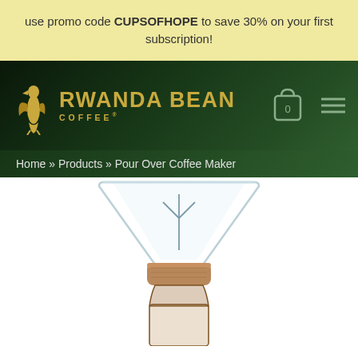use promo code CUPSOFHOPE to save 30% on your first subscription!
[Figure (logo): Rwanda Bean Coffee logo with golden bird icon and brand name in gold text on dark green background, cart icon and hamburger menu on right]
Home » Products » Pour Over Coffee Maker
[Figure (photo): Pour over coffee maker with glass funnel top, cork collar grip, and glass carafe bottom, shown partially cropped at bottom of page]